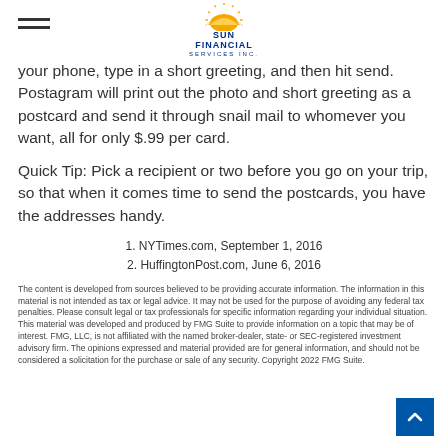Sun Financial Services Inc. [logo]
your phone, type in a short greeting, and then hit send. Postagram will print out the photo and short greeting as a postcard and send it through snail mail to whomever you want, all for only $.99 per card.
Quick Tip: Pick a recipient or two before you go on your trip, so that when it comes time to send the postcards, you have the addresses handy.
1. NYTimes.com, September 1, 2016
2. HuffingtonPost.com, June 6, 2016
The content is developed from sources believed to be providing accurate information. The information in this material is not intended as tax or legal advice. It may not be used for the purpose of avoiding any federal tax penalties. Please consult legal or tax professionals for specific information regarding your individual situation. This material was developed and produced by FMG Suite to provide information on a topic that may be of interest. FMG, LLC, is not affiliated with the named broker-dealer, state- or SEC-registered investment advisory firm. The opinions expressed and material provided are for general information, and should not be considered a solicitation for the purchase or sale of any security. Copyright 2022 FMG Suite.